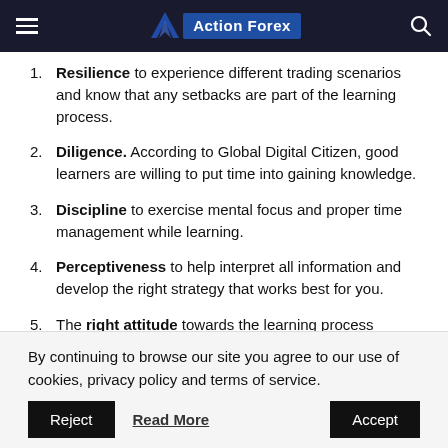Action Forex
Resilience to experience different trading scenarios and know that any setbacks are part of the learning process.
Diligence. According to Global Digital Citizen, good learners are willing to put time into gaining knowledge.
Discipline to exercise mental focus and proper time management while learning.
Perceptiveness to help interpret all information and develop the right strategy that works best for you.
The right attitude towards the learning process means
By continuing to browse our site you agree to our use of cookies, privacy policy and terms of service.